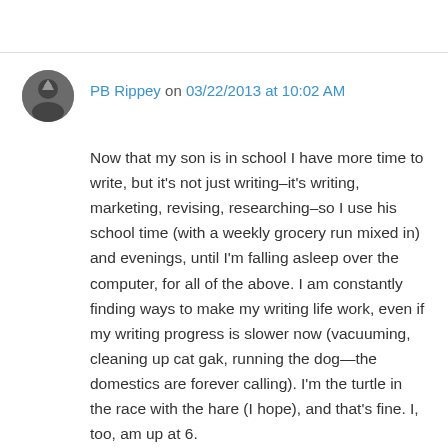PB Rippey on 03/22/2013 at 10:02 AM
Now that my son is in school I have more time to write, but it's not just writing–it's writing, marketing, revising, researching–so I use his school time (with a weekly grocery run mixed in) and evenings, until I'm falling asleep over the computer, for all of the above. I am constantly finding ways to make my writing life work, even if my writing progress is slower now (vacuuming, cleaning up cat gak, running the dog—the domestics are forever calling). I'm the turtle in the race with the hare (I hope), and that's fine. I, too, am up at 6.